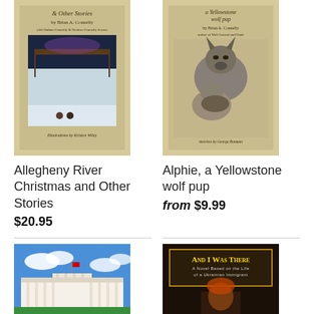[Figure (photo): Book cover: Allegheny River Christmas and Other Stories by Brian A. Connelly, with Nathan Connelly and Heather Connelly Jerome. Illustrations by Kristen Wiley. Tan/beige cover with a winter scene painting.]
[Figure (photo): Book cover: Alphie, a Yellowstone wolf pup by Brian A. Connelly, author of Wolf Journal and Hank. Sketches by George Bumann. Tan/beige cover with pencil sketches of wolves.]
Allegheny River Christmas and Other Stories
$20.95
Alphie, a Yellowstone wolf pup
from $9.99
[Figure (photo): Book cover: American Cincinnatus. Shows the White House with blue sky and clouds.]
[Figure (photo): Book cover: And I Was There - A Novel Based on the Life of a Ukrainian Immigrant. Dark cover with yellow title text and a figure.]